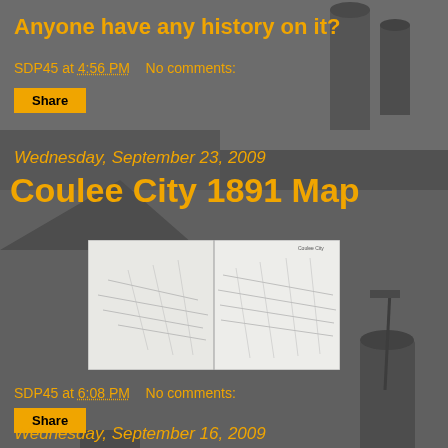Anyone have any history on it?
SDP45 at 4:56 PM   No comments:
Share
Wednesday, September 23, 2009
Coulee City 1891 Map
[Figure (map): 1891 map of Coulee City shown in two panels side by side]
SDP45 at 6:08 PM   No comments:
Share
Wednesday, September 16, 2009